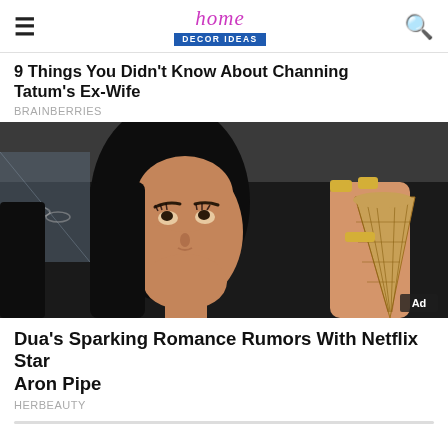home Decor Ideas
9 Things You Didn't Know About Channing Tatum's Ex-Wife
BRAINBERRIES
[Figure (photo): A woman with long dark hair holding up an ice cream waffle cone, looking upward. Gold nails visible. Ad label in corner.]
Dua's Sparking Romance Rumors With Netflix Star Aron Pipe
HERBEAUTY